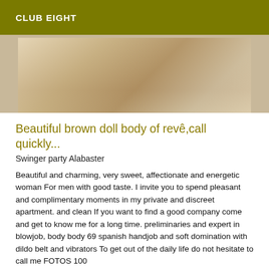CLUB EIGHT
[Figure (photo): Close-up photo of a person lying on a wooden surface, partially cropped, showing light skin and the edge of a wooden plank or bed frame.]
Beautiful brown doll body of revê,call quickly...
Swinger party Alabaster
Beautiful and charming, very sweet, affectionate and energetic woman For men with good taste. I invite you to spend pleasant and complimentary moments in my private and discreet apartment. and clean If you want to find a good company come and get to know me for a long time. preliminaries and expert in blowjob, body body 69 spanish handjob and soft domination with dildo belt and vibrators To get out of the daily life do not hesitate to call me FOTOS 100